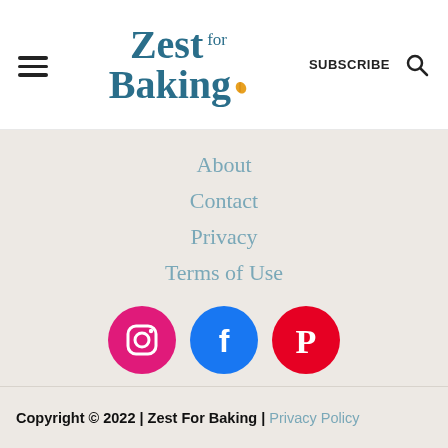[Figure (logo): Zest for Baking logo with hamburger menu icon on left, SUBSCRIBE text and search icon on right]
About
Contact
Privacy
Terms of Use
[Figure (illustration): Three social media icons: Instagram (pink circle), Facebook (blue circle), Pinterest (red circle)]
Copyright © 2022 | Zest For Baking | Privacy Policy